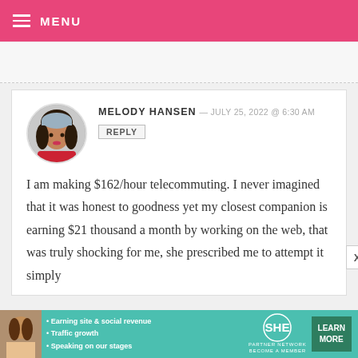MENU
MELODY HANSEN — JULY 25, 2022 @ 6:30 AM
REPLY
I am making $162/hour telecommuting. I never imagined that it was honest to goodness yet my closest companion is earning $21 thousand a month by working on the web, that was truly shocking for me, she prescribed me to attempt it simply
[Figure (infographic): Bottom advertisement banner: SHE PARTNER NETWORK with bullet points: Earning site & social revenue, Traffic growth, Speaking on our stages. LEARN MORE button.]